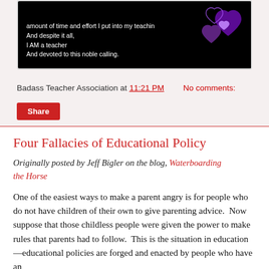[Figure (photo): Black background image with white text poem excerpt reading 'amount of time and effort I put into my teaching. And despite it all, I AM a teacher And devoted to this noble calling. Ann MacAbee · BATS Oct. 2013' with purple heart graphics on the right side]
Badass Teacher Association at 11:21 PM    No comments:
Share
Four Fallacies of Educational Policy
Originally posted by Jeff Bigler on the blog, Waterboarding the Horse
One of the easiest ways to make a parent angry is for people who do not have children of their own to give parenting advice.  Now suppose that those childless people were given the power to make rules that parents had to follow.  This is the situation in education—educational policies are forged and enacted by people who have an